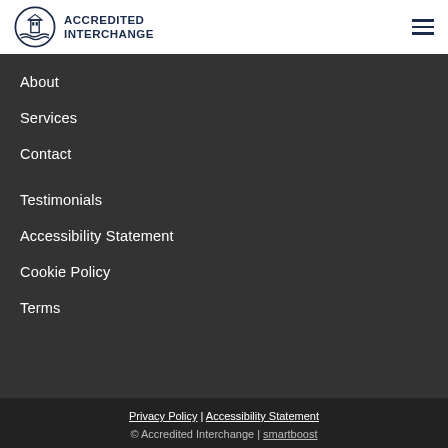[Figure (logo): Accredited Interchange logo with circular emblem and text]
About
Services
Contact
Testimonials
Accessibility Statement
Cookie Policy
Terms
Privacy Policy | Accessibility Statement
© Accredited Interchange | smartboost